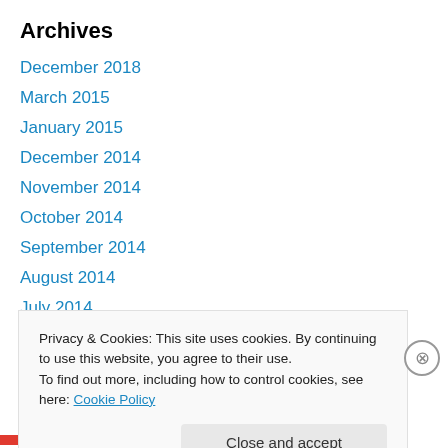Archives
December 2018
March 2015
January 2015
December 2014
November 2014
October 2014
September 2014
August 2014
July 2014
April 2014
March 2014
February 2014
Privacy & Cookies: This site uses cookies. By continuing to use this website, you agree to their use. To find out more, including how to control cookies, see here: Cookie Policy
Close and accept